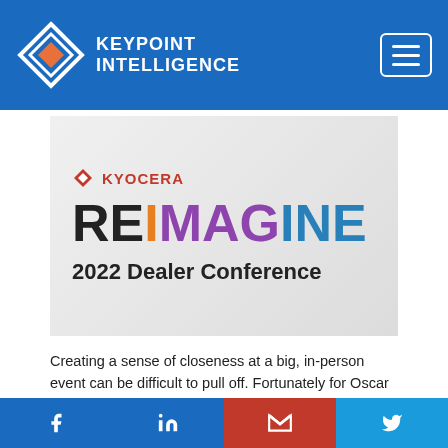KEYPOINT INTELLIGENCE
[Figure (photo): Kyocera REIMAGINE 2022 Dealer Conference sign/banner with colorful multicolor REIMAGINE text and Kyocera logo]
Creating a sense of closeness at a big, in-person event can be difficult to pull off. Fortunately for Oscar Sanchez, President and CEO of KYOCERA Document Solutions America (KDSA), and everyone else at the company who
Facebook | LinkedIn | Gmail | Twitter